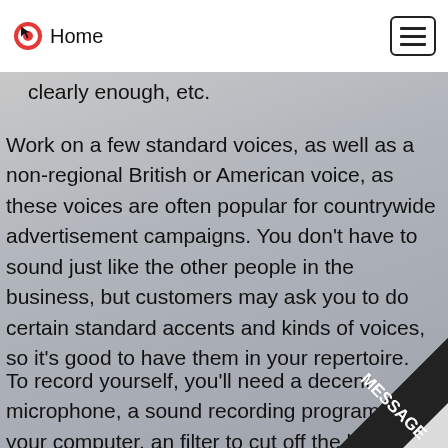Home
clearly enough, etc.
Work on a few standard voices, as well as a non-regional British or American voice, as these voices are often popular for countrywide advertisement campaigns. You don’t have to sound just like the other people in the business, but customers may ask you to do certain standard accents and kinds of voices, so it’s good to have them in your repertoire.
To record yourself, you’ll need a decent microphone, a sound recording program on your computer, an filter to cut off the loud popping sounds you